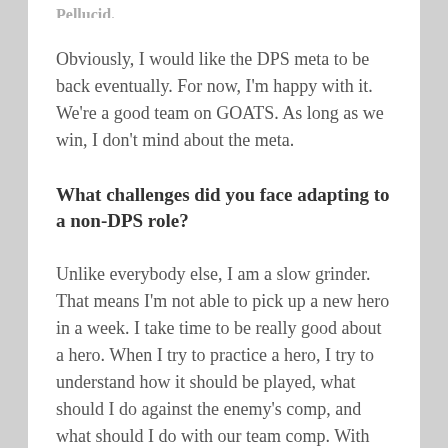Obviously, I would like the DPS meta to be back eventually. For now, I'm happy with it. We're a good team on GOATS. As long as we win, I don't mind about the meta.
What challenges did you face adapting to a non-DPS role?
Unlike everybody else, I am a slow grinder. That means I'm not able to pick up a new hero in a week. I take time to be really good about a hero. When I try to practice a hero, I try to understand how it should be played, what should I do against the enemy's comp, and what should I do with our team comp. With